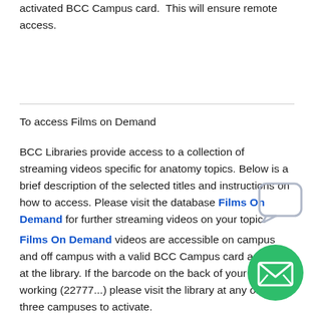activated BCC Campus card.  This will ensure remote access.
To access Films on Demand
BCC Libraries provide access to a collection of streaming videos specific for anatomy topics. Below is a brief description of the selected titles and instructions on how to access. Please visit the database Films On Demand for further streaming videos on your topic.
Films On Demand videos are accessible on campus and off campus with a valid BCC Campus card activated at the library. If the barcode on the back of your ID is not working (22777...) please visit the library at any of the three campuses to activate.
[Figure (illustration): Chat bubble icon in top right area]
[Figure (illustration): Green circular email/message FAB button in bottom right corner]